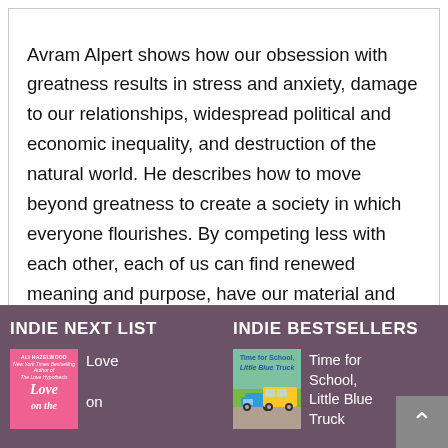Avram Alpert shows how our obsession with greatness results in stress and anxiety, damage to our relationships, widespread political and economic inequality, and destruction of the natural world. He describes how to move beyond greatness to create a society in which everyone flourishes. By competing less with each other, each of us can find renewed meaning and purpose, have our material and emotional needs met, and begin to lead more leisurely lives. Alpert makes no false utopian…
INDIE NEXT LIST
INDIE BESTSELLERS
[Figure (illustration): Pink book cover for 'Love on the...' by Ali Hazelwood]
Love on
[Figure (illustration): Book cover for 'Time for School, Little Blue Truck' with illustrated school bus scene]
Time for School, Little Blue Truck